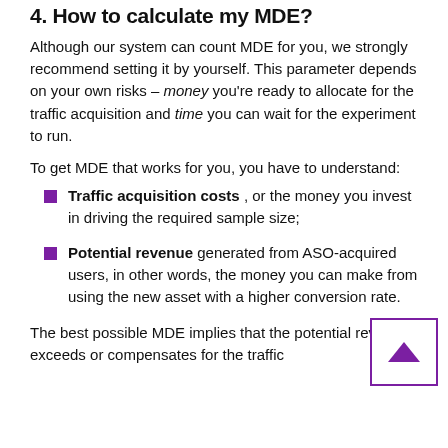4. How to calculate my MDE?
Although our system can count MDE for you, we strongly recommend setting it by yourself. This parameter depends on your own risks – money you're ready to allocate for the traffic acquisition and time you can wait for the experiment to run.
To get MDE that works for you, you have to understand:
Traffic acquisition costs , or the money you invest in driving the required sample size;
Potential revenue generated from ASO-acquired users, in other words, the money you can make from using the new asset with a higher conversion rate.
The best possible MDE implies that the potential revenue exceeds or compensates for the traffic